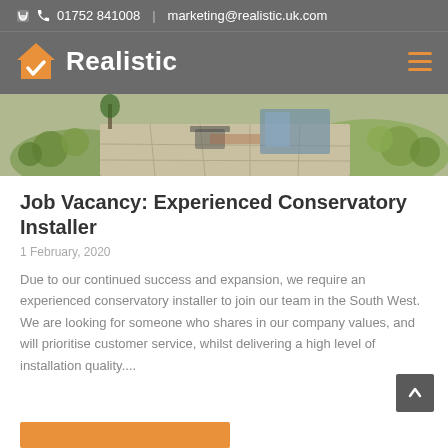01752 841008 | marketing@realistic.uk.com
[Figure (logo): Realistic company logo with orange house checkmark icon and white text Realistic on grey background]
[Figure (photo): Aerial or elevated view of a landscaped garden with patio, outdoor furniture, shrubs and trees]
Job Vacancy: Experienced Conservatory Installer
1 February, 2020
Due to our continued success and expansion, we require an experienced conservatory installer to join our team in the South West. We are looking for someone who shares in our company values, and will prioritise customer service, whilst delivering a high level of installation quality....